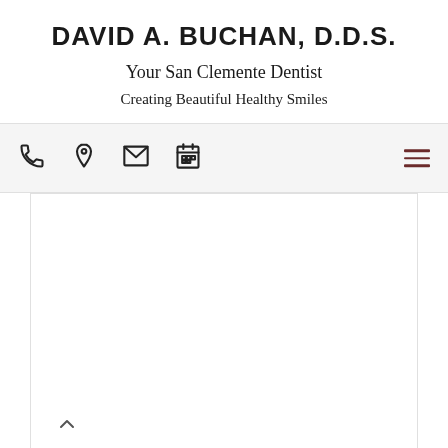DAVID A. BUCHAN, D.D.S.
Your San Clemente Dentist
Creating Beautiful Healthy Smiles
[Figure (screenshot): Navigation bar with phone, location pin, envelope, and calendar icons on the left, and a hamburger menu (three horizontal lines in dark red) on the right, on a light gray background.]
[Figure (screenshot): White content area with a border, mostly blank, with a small upward chevron arrow in the bottom-left corner.]